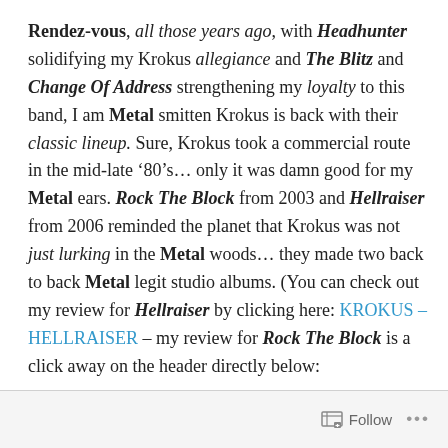Rendez-vous, all those years ago, with Headhunter solidifying my Krokus allegiance and The Blitz and Change Of Address strengthening my loyalty to this band, I am Metal smitten Krokus is back with their classic lineup. Sure, Krokus took a commercial route in the mid-late ’80’s… only it was damn good for my Metal ears. Rock The Block from 2003 and Hellraiser from 2006 reminded the planet that Krokus was not just lurking in the Metal woods… they made two back to back Metal legit studio albums. (You can check out my review for Hellraiser by clicking here: KROKUS – HELLRAISER – my review for Rock The Block is a click away on the header directly below:
Follow ...